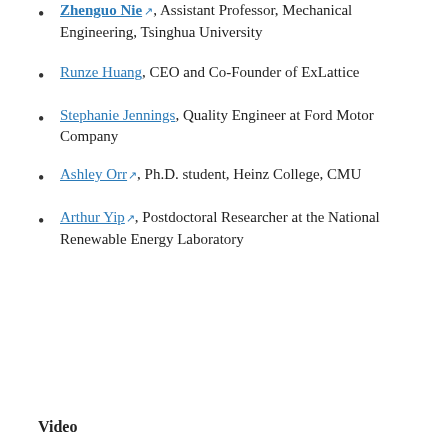Zhenguo Nie, Assistant Professor, Mechanical Engineering, Tsinghua University
Runze Huang, CEO and Co-Founder of ExLattice
Stephanie Jennings, Quality Engineer at Ford Motor Company
Ashley Orr, Ph.D. student, Heinz College, CMU
Arthur Yip, Postdoctoral Researcher at the National Renewable Energy Laboratory
Video